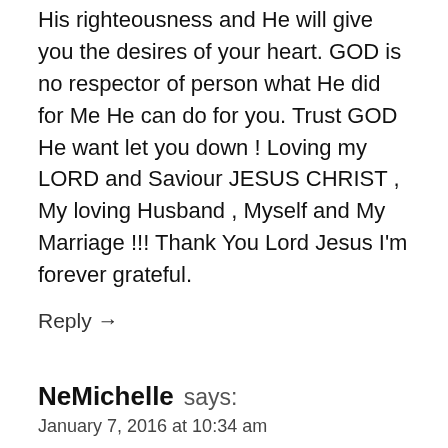His righteousness and He will give you the desires of your heart. GOD is no respector of person what He did for Me He can do for you. Trust GOD He want let you down ! Loving my LORD and Saviour JESUS CHRIST , My loving Husband , Myself and My Marriage !!! Thank You Lord Jesus I'm forever grateful.
Reply →
NeMichelle says:
January 7, 2016 at 10:34 am